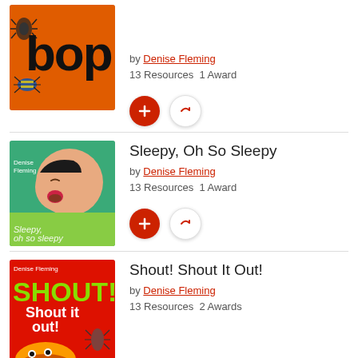[Figure (illustration): Book cover for 'Bop!' by Denise Fleming showing large letter b, o, p with insects on orange background]
by Denise Fleming
13 Resources  1 Award
[Figure (illustration): Book cover for 'Sleepy, Oh So Sleepy' by Denise Fleming showing a sleepy baby on teal background]
Sleepy, Oh So Sleepy
by Denise Fleming
13 Resources  1 Award
[Figure (illustration): Book cover for 'Shout! Shout It Out!' by Denise Fleming showing green letters on red background with cartoon monster]
Shout! Shout It Out!
by Denise Fleming
13 Resources  2 Awards